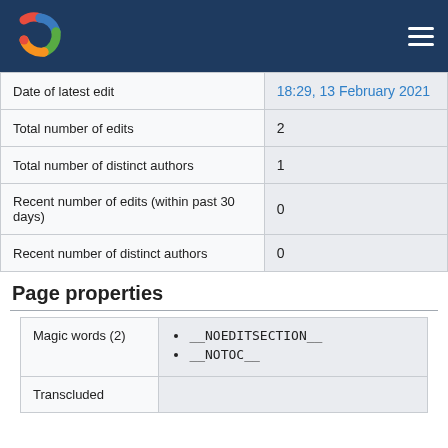Joomla logo and hamburger menu
| Property | Value |
| --- | --- |
| Date of latest edit | 18:29, 13 February 2021 |
| Total number of edits | 2 |
| Total number of distinct authors | 1 |
| Recent number of edits (within past 30 days) | 0 |
| Recent number of distinct authors | 0 |
Page properties
| Property | Value |
| --- | --- |
| Magic words (2) | __NOEDITSECTION__
__NOTOC__ |
| Transcluded |  |